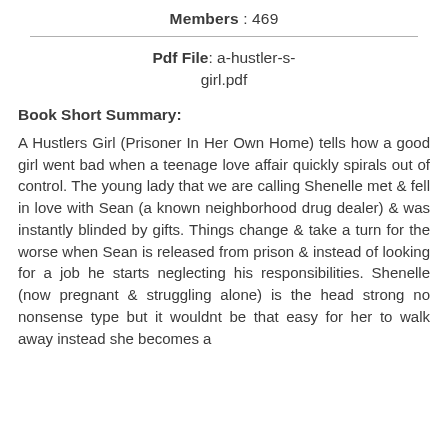Members : 469
Pdf File: a-hustler-s-girl.pdf
Book Short Summary:
A Hustlers Girl (Prisoner In Her Own Home) tells how a good girl went bad when a teenage love affair quickly spirals out of control. The young lady that we are calling Shenelle met & fell in love with Sean (a known neighborhood drug dealer) & was instantly blinded by gifts. Things change & take a turn for the worse when Sean is released from prison & instead of looking for a job he starts neglecting his responsibilities. Shenelle (now pregnant & struggling alone) is the head strong no nonsense type but it wouldnt be that easy for her to walk away instead she becomes a